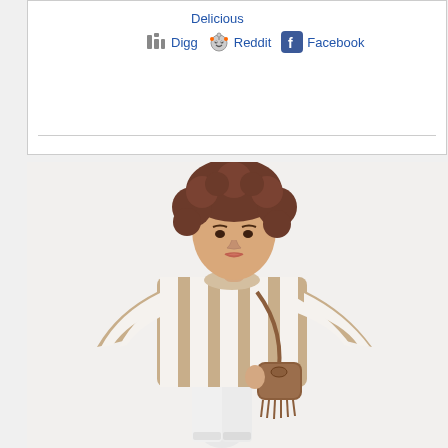Delicious   Digg   Reddit   Facebook
[Figure (photo): Fashion photo of a woman with curly brown hair wearing a beige and white vertical-striped oversized top with bell sleeves, white skinny pants, and carrying a brown crossbody bag, photographed against a white background.]